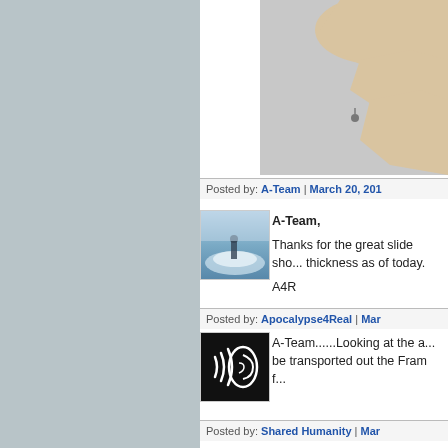[Figure (map): Partial map image showing landmasses in beige/tan against grey sea, cropped at right edge]
Posted by: A-Team | March 20, 201...
[Figure (photo): Small avatar thumbnail showing an icy/snowy landscape with a figure, blue-grey tones]
A-Team,

Thanks for the great slide sho... thickness as of today.

A4R
Posted by: Apocalypse4Real | Mar...
[Figure (illustration): Black avatar image with white sound wave lines and an ear icon]
A-Team......Looking at the a... be transported out the Fram f...
Posted by: Shared Humanity | Mar...